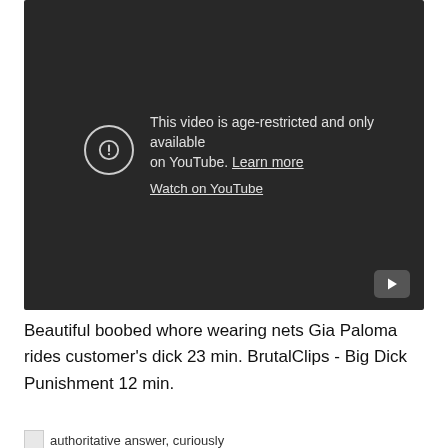[Figure (screenshot): YouTube age-restricted video embed showing dark background with warning icon and text: 'This video is age-restricted and only available on YouTube. Learn more' and 'Watch on YouTube' link. YouTube play button icon in bottom right corner.]
Beautiful boobed whore wearing nets Gia Paloma rides customer's dick 23 min. BrutalClips - Big Dick Punishment 12 min.
authoritative answer, curiously